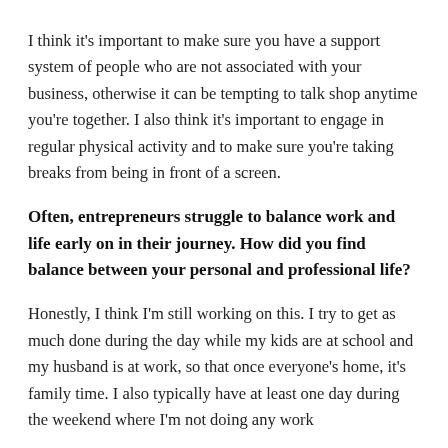I think it's important to make sure you have a support system of people who are not associated with your business, otherwise it can be tempting to talk shop anytime you're together. I also think it's important to engage in regular physical activity and to make sure you're taking breaks from being in front of a screen.
Often, entrepreneurs struggle to balance work and life early on in their journey. How did you find balance between your personal and professional life?
Honestly, I think I'm still working on this. I try to get as much done during the day while my kids are at school and my husband is at work, so that once everyone's home, it's family time. I also typically have at least one day during the weekend where I'm not doing any work